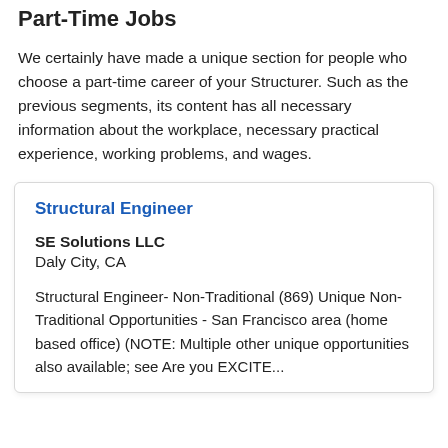Part-Time Jobs
We certainly have made a unique section for people who choose a part-time career of your Structurer. Such as the previous segments, its content has all necessary information about the workplace, necessary practical experience, working problems, and wages.
Structural Engineer
SE Solutions LLC
Daly City, CA
Structural Engineer- Non-Traditional (869) Unique Non-Traditional Opportunities - San Francisco area (home based office) (NOTE: Multiple other unique opportunities also available; see Are you EXCITE...